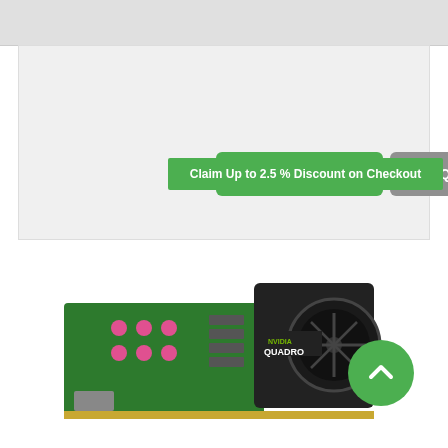[Figure (screenshot): Top gray navigation/header bar of an e-commerce page]
[Figure (screenshot): Card section with Add to Cart (green) and Quote (gray) buttons, and a green discount banner reading 'Claim Up to 2.5 % Discount on Checkout']
Add to Cart
Quote
Claim Up to 2.5 % Discount on Checkout
[Figure (photo): NVIDIA Quadro graphics card product photo — green PCB with black shroud and circular fan]
[Figure (illustration): Green circular scroll-to-top button with upward chevron arrow]